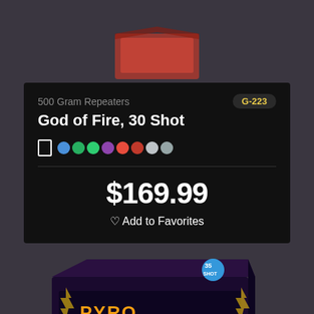[Figure (photo): Partial view of a fireworks product box on dark background, top portion cut off]
500 Gram Repeaters
G-223
God of Fire, 30 Shot
$169.99
Add to Favorites
[Figure (photo): Pyro Pulverizer fireworks product box with colorful graphics, 33 shot label, on dark background]